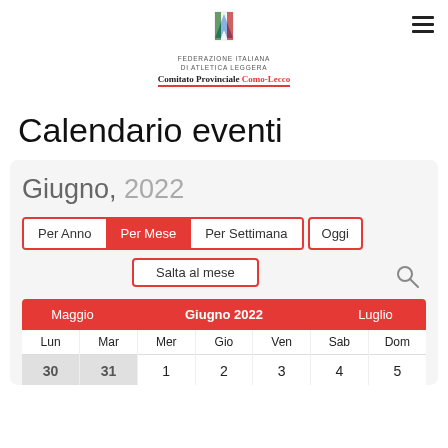[Figure (logo): FIDAL - Federazione Italiana di Atletica Leggera logo with Italian flag colors, Comitato Provinciale Como-Lecco text below]
Calendario eventi
Giugno, 2022
| Lun | Mar | Mer | Gio | Ven | Sab | Dom |
| --- | --- | --- | --- | --- | --- | --- |
| 30 | 31 | 1 | 2 | 3 | 4 | 5 |